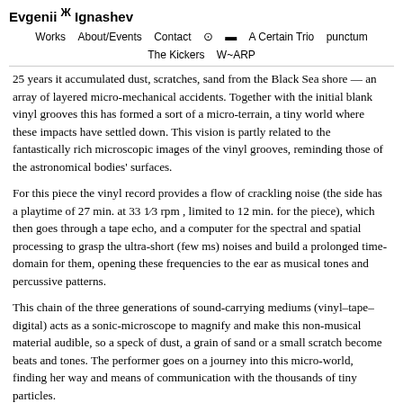Evgenii Ж Ignashev
Works   About/Events   Contact   [instagram]   [soundcloud]   A Certain Trio   punctum   The Kickers   W~ARP
25 years it accumulated dust, scratches, sand from the Black Sea shore — an array of layered micro-mechanical accidents. Together with the initial blank vinyl grooves this has formed a sort of a micro-terrain, a tiny world where these impacts have settled down. This vision is partly related to the fantastically rich microscopic images of the vinyl grooves, reminding those of the astronomical bodies' surfaces.
For this piece the vinyl record provides a flow of crackling noise (the side has a playtime of 27 min. at 33 1⁄3 rpm , limited to 12 min. for the piece), which then goes through a tape echo, and a computer for the spectral and spatial processing to grasp the ultra-short (few ms) noises and build a prolonged time-domain for them, opening these frequencies to the ear as musical tones and percussive patterns.
This chain of the three generations of sound-carrying mediums (vinyl–tape–digital) acts as a sonic-microscope to magnify and make this non-musical material audible, so a speck of dust, a grain of sand or a small scratch become beats and tones. The performer goes on a journey into this micro-world, finding her way and means of communication with the thousands of tiny particles.